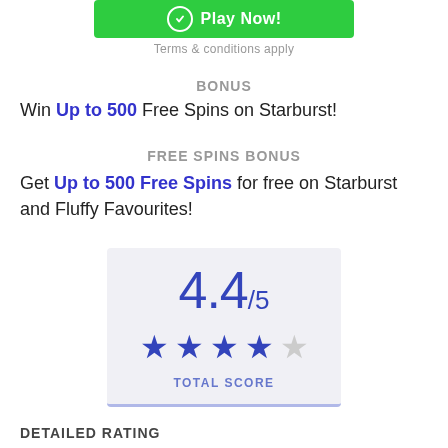[Figure (other): Green Play Now button with circle icon and white text]
Terms & conditions apply
BONUS
Win Up to 500 Free Spins on Starburst!
FREE SPINS BONUS
Get Up to 500 Free Spins for free on Starburst and Fluffy Favourites!
[Figure (infographic): Rating score box showing 4.4/5 with 4 filled blue stars and 1 empty star, labeled TOTAL SCORE]
DETAILED RATING